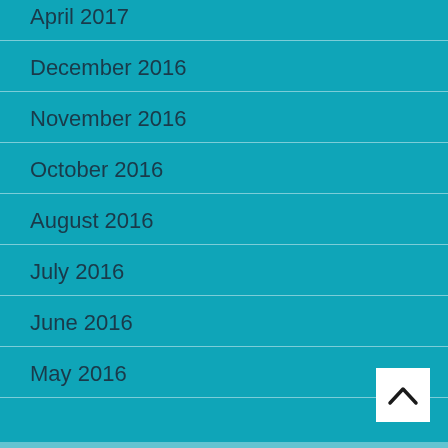April 2017
December 2016
November 2016
October 2016
August 2016
July 2016
June 2016
May 2016